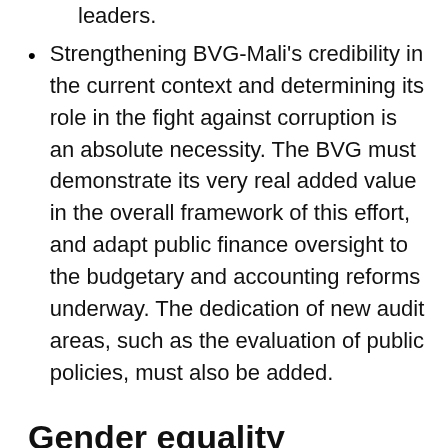leaders.
Strengthening BVG-Mali's credibility in the current context and determining its role in the fight against corruption is an absolute necessity. The BVG must demonstrate its very real added value in the overall framework of this effort, and adapt public finance oversight to the budgetary and accounting reforms underway. The dedication of new audit areas, such as the evaluation of public policies, must also be added.
Gender equality